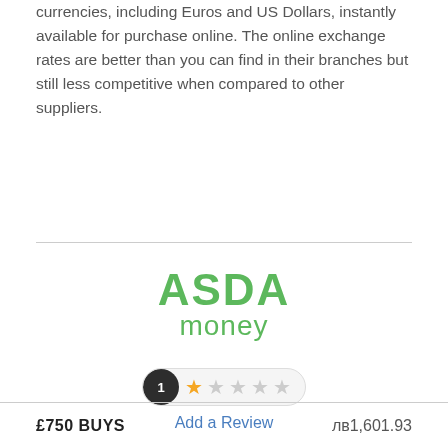currencies, including Euros and US Dollars, instantly available for purchase online. The online exchange rates are better than you can find in their branches but still less competitive when compared to other suppliers.
[Figure (logo): ASDA money logo in green text, two lines: 'ASDA' in bold uppercase and 'money' in regular weight below]
[Figure (other): Rating widget showing 1 review with 1 star (filled) out of 5 stars, displayed as a pill-shaped badge with dark circle showing '1' and star icons]
Add a Review
| £750 BUYS |  |
| --- | --- |
|  | лв1,601.93 |